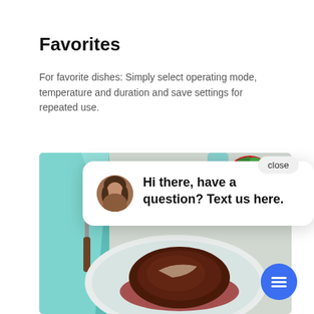Favorites
For favorite dishes: Simply select operating mode, temperature and duration and save settings for repeated use.
[Figure (photo): Food photo showing a steak dish on a plate with tomato, teal cloth napkin and fork visible. A chat popup overlay is shown with avatar and text 'Hi there, have a question? Text us here.' with a close button and a blue chat icon button.]